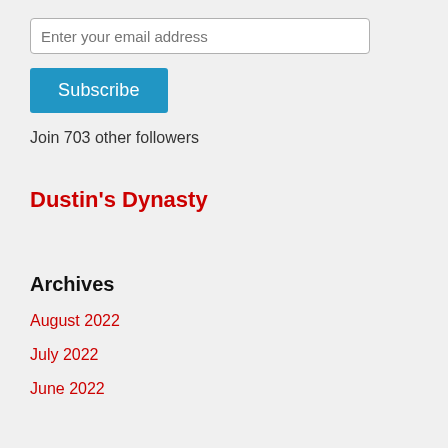Enter your email address
Subscribe
Join 703 other followers
Dustin's Dynasty
Archives
August 2022
July 2022
June 2022